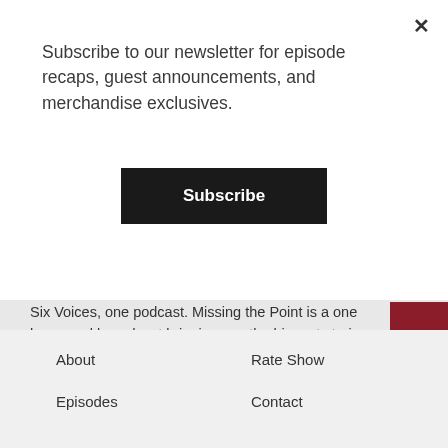Subscribe to our newsletter for episode recaps, guest announcements, and merchandise exclusives.
Subscribe
Six Voices, one podcast. Missing the Point is a one hour weekly podcast bringing you the biggest stories in the world of sports with a New England flavor. Joe Malkin, Michael Marcangelo, Bob Kelley, Dave Clarke, Rayshawn Buchanan, and Craig D'Alessandro go deep to bring analysis, criticism, praise, and overall humor. In addition to the regular shows, we offer numerous specialized episodes, game shows, trips back in time through New England's dominance since 2000, and more! New episodes drop every week! Make sure to subscribe, or you're completely Missing the Point!
Send a Voicemail
About
Rate Show
Episodes
Contact